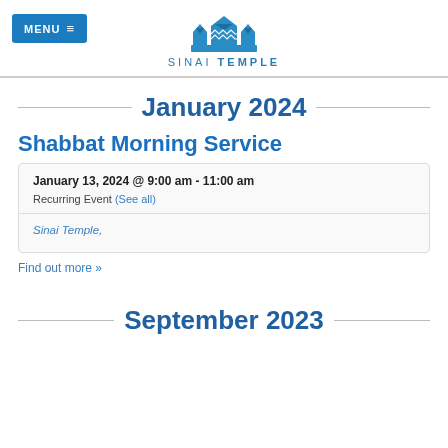MENU  ≡   SINAI TEMPLE
January 2024
Shabbat Morning Service
| January 13, 2024 @ 9:00 am - 11:00 am |
| Recurring Event (See all) |
| Sinai Temple, |
Find out more »
September 2023